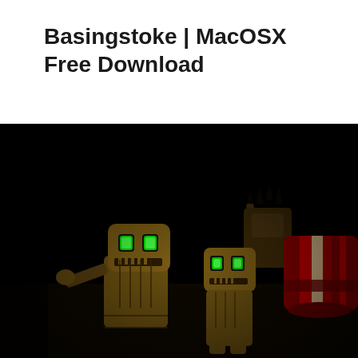Basingstoke | MacOSX Free Download
[Figure (screenshot): Dark video game screenshot showing two robot/zombie-like creatures with glowing green eyes standing in a dark environment with a street lamp providing a cone of light from above. Red and white striped barrier/structure visible on the right side.]